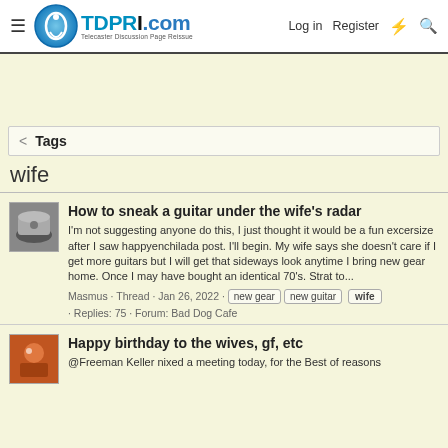TDPRI.com Telecaster Discussion Page Reissue — Log in | Register
< Tags
wife
How to sneak a guitar under the wife's radar
I'm not suggesting anyone do this, I just thought it would be a fun excersize after I saw happyenchilada post. I'll begin. My wife says she doesn't care if I get more guitars but I will get that sideways look anytime I bring new gear home. Once I may have bought an identical 70's. Strat to...
Masmus · Thread · Jan 26, 2022 · new gear | new guitar | wife · Replies: 75 · Forum: Bad Dog Cafe
Happy birthday to the wives, gf, etc
@Freeman Keller nixed a meeting today, for the Best of reasons